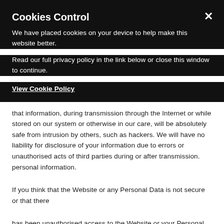Cookies Control
We have placed cookies on your device to help make this website better.
Read our full privacy policy in the link below or close this window to continue.
View Cookie Policy
that information, during transmission through the Internet or while stored on our system or otherwise in our care, will be absolutely safe from intrusion by others, such as hackers. We will have no liability for disclosure of your information due to errors or unauthorised acts of third parties during or after transmission. personal information.
If you think that the Website or any Personal Data is not secure or that there
has been unauthorised access to the Website or your Personal Data, please
contact privacyofficer@publicisgroupe.com immediately.
Data transfers